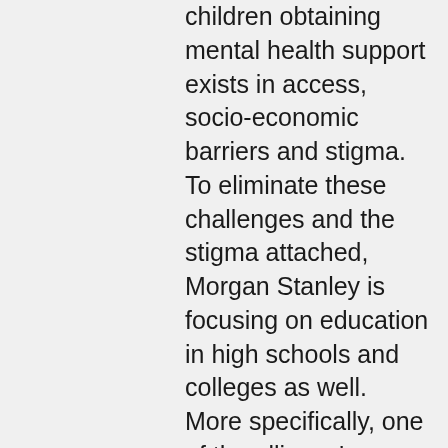children obtaining mental health support exists in access, socio-economic barriers and stigma. To eliminate these challenges and the stigma attached, Morgan Stanley is focusing on education in high schools and colleges as well. More specifically, one of the alliance's founding non-profit partner is The Jed Foundation (JED), which has established student mental health programs across campuses.
“There are some hard-core infrastructure issues that have to be addressed and no one company is going to solve that problem. That’s going to take a lot more listening than just us but we can do a lot to